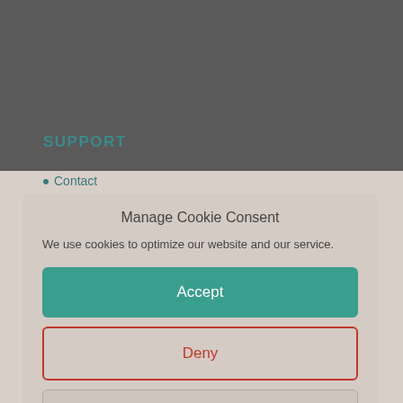[Figure (screenshot): Dark grey website background top section]
SUPPORT
Contact
Delivery & …
Cookie Policy (EU)
Privacy Policy
Manage Cookie Consent
We use cookies to optimize our website and our service.
Accept
Deny
Preferences